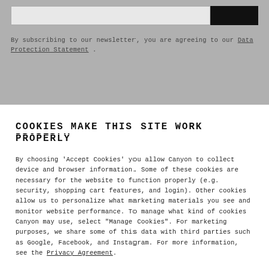[Figure (screenshot): Top section with grey background containing an email input field, a black subscribe button, and a newsletter subscription disclaimer text with a Data Protection Statement link.]
By subscribing to our newsletter, you are agreeing to our Data Protection Statement .
COOKIES MAKE THIS SITE WORK PROPERLY
By choosing 'Accept Cookies' you allow Canyon to collect device and browser information. Some of these cookies are necessary for the website to function properly (e.g. security, shopping cart features, and login). Other cookies allow us to personalize what marketing materials you see and monitor website performance. To manage what kind of cookies Canyon may use, select "Manage Cookies". For marketing purposes, we share some of this data with third parties such as Google, Facebook, and Instagram. For more information, see the Privacy Agreement.
Accept Cookies
Manage Cookies